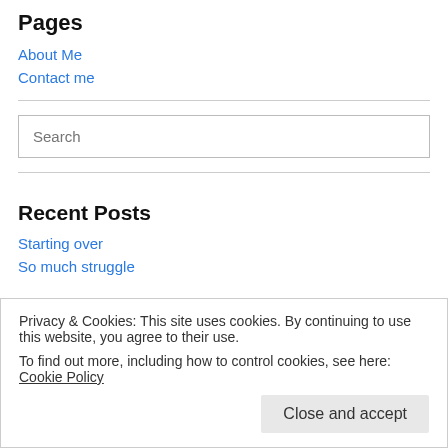Pages
About Me
Contact me
[Figure (other): Search input box with placeholder text 'Search']
Recent Posts
Starting over
So much struggle
Privacy & Cookies: This site uses cookies. By continuing to use this website, you agree to their use.
To find out more, including how to control cookies, see here: Cookie Policy
Close and accept
Recent Comments